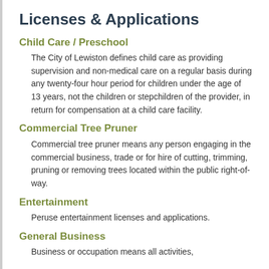Licenses & Applications
Child Care / Preschool
The City of Lewiston defines child care as providing supervision and non-medical care on a regular basis during any twenty-four hour period for children under the age of 13 years, not the children or stepchildren of the provider, in return for compensation at a child care facility.
Commercial Tree Pruner
Commercial tree pruner means any person engaging in the commercial business, trade or for hire of cutting, trimming, pruning or removing trees located within the public right-of-way.
Entertainment
Peruse entertainment licenses and applications.
General Business
Business or occupation means all activities,